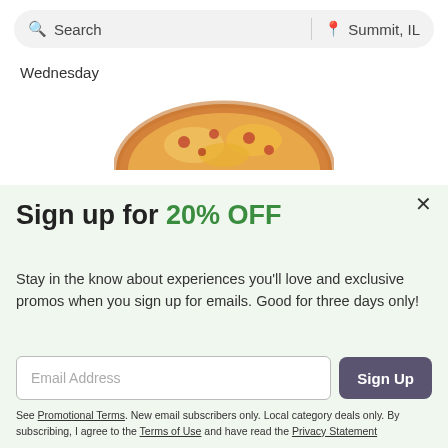Search | Summit, IL
Wednesday
[Figure (photo): Top of a pizza visible at the top of the promotional modal]
Sign up for 20% OFF
Stay in the know about experiences you'll love and exclusive promos when you sign up for emails. Good for three days only!
Email Address | Sign Up
See Promotional Terms. New email subscribers only. Local category deals only. By subscribing, I agree to the Terms of Use and have read the Privacy Statement